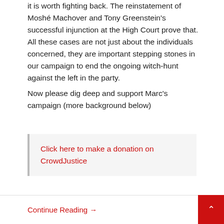it is worth fighting back. The reinstatement of Moshé Machover and Tony Greenstein's successful injunction at the High Court prove that. All these cases are not just about the individuals concerned, they are important stepping stones in our campaign to end the ongoing witch-hunt against the left in the party.
Now please dig deep and support Marc's campaign (more background below)
Click here to make a donation on CrowdJustice
Continue Reading →